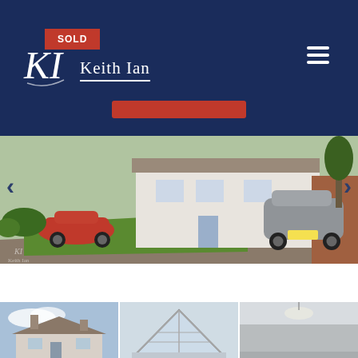Keith Ian - SOLD property listing page
[Figure (screenshot): Real estate agency website screenshot showing Keith Ian logo with SOLD badge, navigation hamburger menu, red pill-shaped button, main property photo of a detached house with front garden and parked cars, and three thumbnail images at the bottom]
Keith Ian property listing - SOLD